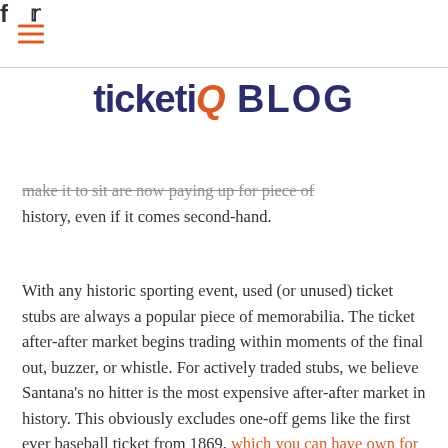☰  f  𝕥
ticketIQ BLOG
make it to sit are now paying up for piece of history, even if it comes second-hand.
With any historic sporting event, used (or unused) ticket stubs are always a popular piece of memorabilia. The ticket after-after market begins trading within moments of the final out, buzzer, or whistle. For actively traded stubs, we believe Santana's no hitter is the most expensive after-after market in history. This obviously excludes one-off gems like the first ever baseball ticket from 1869, which you can have own for a cool $25,000 or a stub to Hank Aaron's 715th homerun, which lists for $5,000